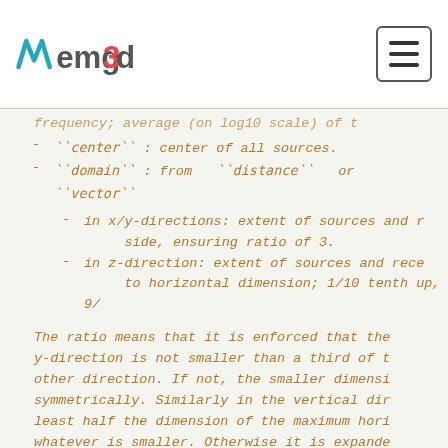emg3d
``center``: center of all sources.
``domain``: from ``distance`` or ``vector``
in x/y-directions: extent of sources and r side, ensuring ratio of 3.
in z-direction: extent of sources and rece to horizontal dimension; 1/10 tenth up, 9/
The ratio means that it is enforced that the y-direction is not smaller than a third of t other direction. If not, the smaller dimensi symmetrically. Similarly in the vertical dir least half the dimension of the maximum hori whatever is smaller. Otherwise it is expande downwards, one part upwards.
The following parameter is taken from the ``gr string:
``vector``: This is the only :func:`emg3d.meshes.construct_mesh`. The no it can also be a string containing any combi and ``'z'``. All directions contained in thi